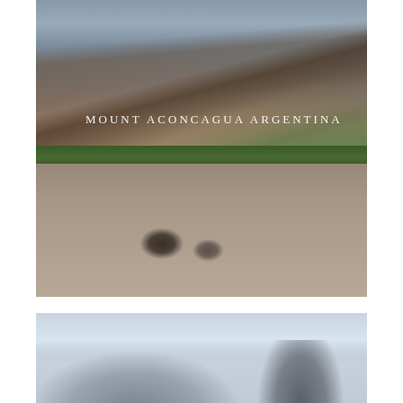[Figure (photo): Photograph of Mount Aconcagua in Argentina showing rocky mountain slopes with snow-capped peaks in the background, green vegetation band in the middle, and large boulders in the rocky foreground. The text 'MOUNT ACONCAGUA ARGENTINA' is overlaid in white spaced lettering.]
[Figure (photo): Photograph of a misty mountain landscape, likely also in Argentina, showing a dramatic rocky peak rising above clouds and mist with lighter sky in the background.]